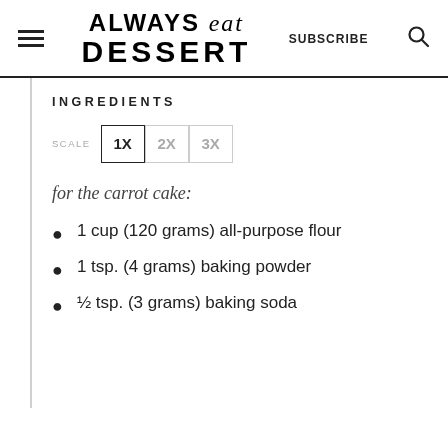ALWAYS eat DESSERT  SUBSCRIBE
INGREDIENTS
SCALE 1X 2X 3X
for the carrot cake:
1 cup (120 grams) all-purpose flour
1 tsp. (4 grams) baking powder
½ tsp. (3 grams) baking soda